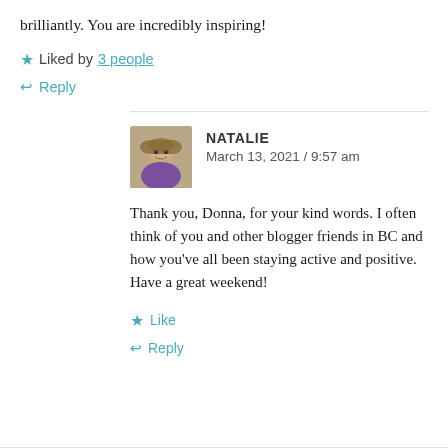brilliantly. You are incredibly inspiring!
★ Liked by 3 people
↩ Reply
NATALIE
March 13, 2021 / 9:57 am
Thank you, Donna, for your kind words. I often think of you and other blogger friends in BC and how you've all been staying active and positive. Have a great weekend!
★ Like
↩ Reply